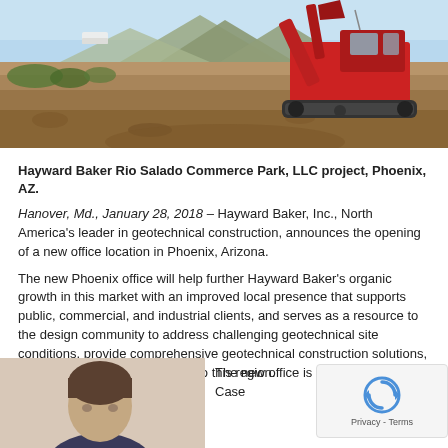[Figure (photo): Construction site with red excavator, dirt ground, mountains in background, blue sky. Hayward Baker Rio Salado Commerce Park project in Phoenix, AZ.]
Hayward Baker Rio Salado Commerce Park, LLC project, Phoenix, AZ.
Hanover, Md., January 28, 2018 – Hayward Baker, Inc., North America's leader in geotechnical construction, announces the opening of a new office location in Phoenix, Arizona.
The new Phoenix office will help further Hayward Baker's organic growth in this market with an improved local presence that supports public, commercial, and industrial clients, and serves as a resource to the design community to address challenging geotechnical site conditions, provide comprehensive geotechnical construction solutions, and deliver enhanced services to this region.
[Figure (photo): Portrait photo of a person, partially visible at bottom left of page.]
The new office is located at affiliate Case